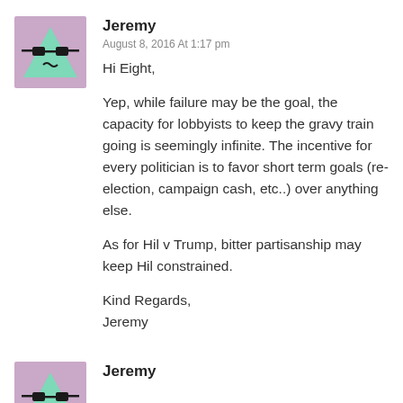[Figure (illustration): Avatar icon: green triangle with sunglasses on purple/pink background]
Jeremy
August 8, 2016 At 1:17 pm
Hi Eight,

Yep, while failure may be the goal, the capacity for lobbyists to keep the gravy train going is seemingly infinite. The incentive for every politician is to favor short term goals (re-election, campaign cash, etc..) over anything else.

As for Hil v Trump, bitter partisanship may keep Hil constrained.

Kind Regards,
Jeremy
[Figure (illustration): Avatar icon: green triangle with sunglasses on purple/pink background]
Jeremy